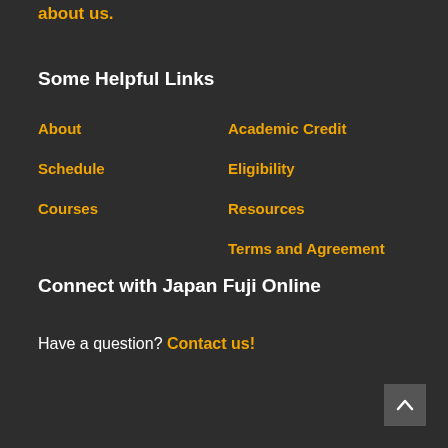about us.
Some Helpful Links
About
Schedule
Courses
Academic Credit
Eligibility
Resources
Terms and Agreement
Connect with Japan Fuji Online
Have a question? Contact us!